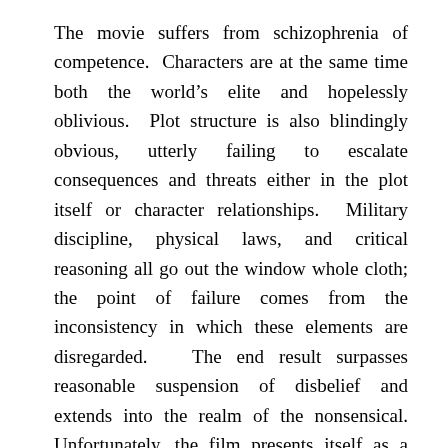The movie suffers from schizophrenia of competence. Characters are at the same time both the world's elite and hopelessly oblivious. Plot structure is also blindingly obvious, utterly failing to escalate consequences and threats either in the plot itself or character relationships. Military discipline, physical laws, and critical reasoning all go out the window whole cloth; the point of failure comes from the inconsistency in which these elements are disregarded. The end result surpasses reasonable suspension of disbelief and extends into the realm of the nonsensical. Unfortunately, the film presents itself as a military action movie rather than a live-action cartoon, and the inability to apply either dynamic consistently throughout the